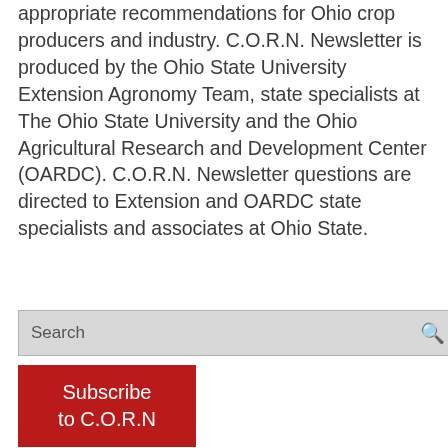appropriate recommendations for Ohio crop producers and industry. C.O.R.N. Newsletter is produced by the Ohio State University Extension Agronomy Team, state specialists at The Ohio State University and the Ohio Agricultural Research and Development Center (OARDC). C.O.R.N. Newsletter questions are directed to Extension and OARDC state specialists and associates at Ohio State.
[Figure (other): Search bar with text 'Search' and a magnifying glass icon on the right]
[Figure (other): Red button with white text reading 'Subscribe to C.O.R.N']